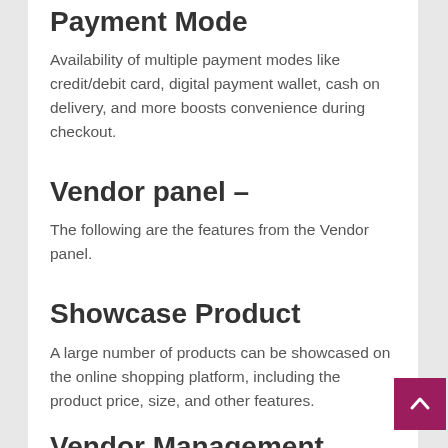Payment Mode
Availability of multiple payment modes like credit/debit card, digital payment wallet, cash on delivery, and more boosts convenience during checkout.
Vendor panel –
The following are the features from the Vendor panel.
Showcase Product
A large number of products can be showcased on the online shopping platform, including the product price, size, and other features.
Vendor Management
Admin can manage, create, delete vendors and